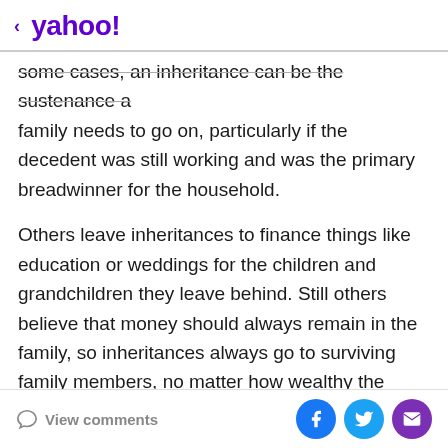< yahoo!
some cases, an inheritance can be the sustenance a family needs to go on, particularly if the decedent was still working and was the primary breadwinner for the household.
Others leave inheritances to finance things like education or weddings for the children and grandchildren they leave behind. Still others believe that money should always remain in the family, so inheritances always go to surviving family members, no matter how wealthy the decedent.
View comments